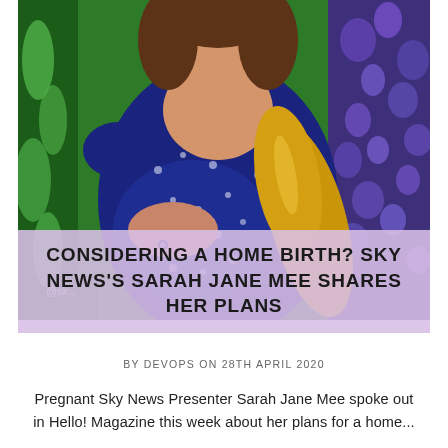[Figure (photo): Pregnant woman in a navy blue floral wrap dress, one hand resting on her baby bump, the other arm across her body wearing a yellow/gold satin glove, standing in front of green foliage and purple flowers. A watermark '@sk...' is visible in the lower left corner.]
CONSIDERING A HOME BIRTH? SKY NEWS'S SARAH JANE MEE SHARES HER PLANS
BY DEVOPS ON 28TH APRIL 2020
Pregnant Sky News Presenter Sarah Jane Mee spoke out in Hello! Magazine this week about her plans for a home...